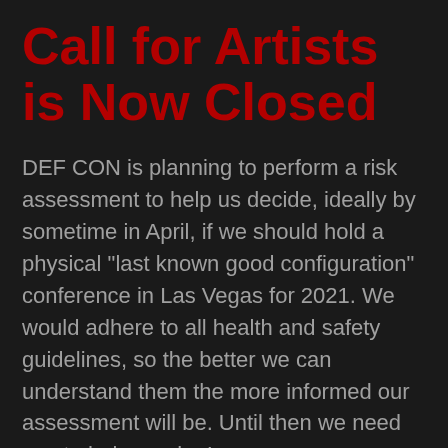Call for Artists is Now Closed
DEF CON is planning to perform a risk assessment to help us decide, ideally by sometime in April, if we should hold a physical "last known good configuration" conference in Las Vegas for 2021. We would adhere to all health and safety guidelines, so the better we can understand them the more informed our assessment will be. Until then we need you to help us plan!
In this call for participation we have NEW questions for the COVID-19 era that will be used in deciding how much interest people